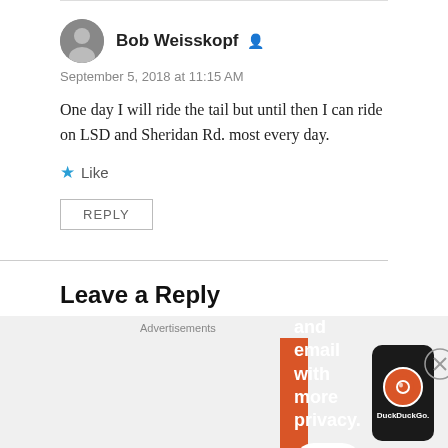Bob Weisskopf
September 5, 2018 at 11:15 AM
One day I will ride the tail but until then I can ride on LSD and Sheridan Rd. most every day.
Like
REPLY
Leave a Reply
[Figure (screenshot): DuckDuckGo advertisement banner with orange background showing 'Search, browse, and email with more privacy. All in One Free App' with a phone showing DuckDuckGo logo]